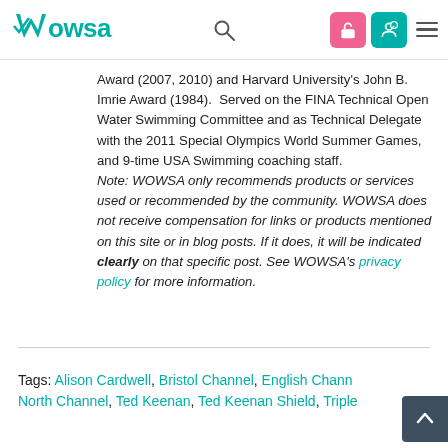WOWSA [logo] [search icon] [icons] [menu]
Award (2007, 2010) and Harvard University's John B. Imrie Award (1984).  Served on the FINA Technical Open Water Swimming Committee and as Technical Delegate with the 2011 Special Olympics World Summer Games, and 9-time USA Swimming coaching staff. Note: WOWSA only recommends products or services used or recommended by the community. WOWSA does not receive compensation for links or products mentioned on this site or in blog posts. If it does, it will be indicated clearly on that specific post. See WOWSA's privacy policy for more information.
Tags: Alison Cardwell, Bristol Channel, English Channel, North Channel, Ted Keenan, Ted Keenan Shield, Triple